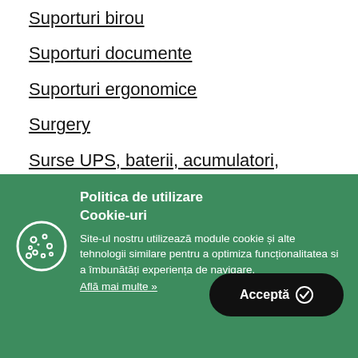Suporturi birou
Suporturi documente
Suporturi ergonomice
Surgery
Surse UPS, baterii, acumulatori, incarcatoare
surveying & building
suspense fiction
[Figure (infographic): Cookie consent banner with green background, cookie icon, title 'Politica de utilizare Cookie-uri', body text, 'Afla mai multe' link, and black 'Accepta' button with checkmark]
Politica de utilizare Cookie-uri
Site-ul nostru utilizează module cookie și alte tehnologii similare pentru a optimiza funcționalitatea si a îmbunătăți experiența de navigare.
Află mai multe »